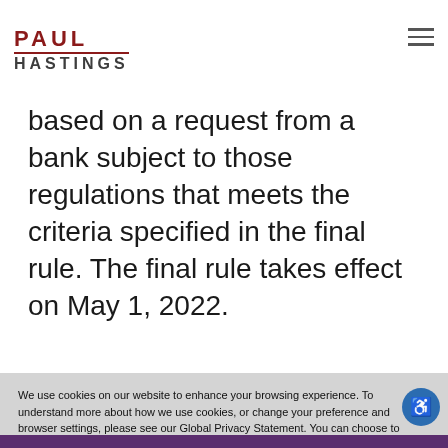PAUL HASTINGS
based on a request from a bank subject to those regulations that meets the criteria specified in the final rule. The final rule takes effect on May 1, 2022.
We use cookies on our website to enhance your browsing experience. To understand more about how we use cookies, or change your preference and browser settings, please see our Global Privacy Statement. You can choose to accept or reject the use of cookies on our website by clicking I accept cookies or I refuse cookies.

Please note that if you choose to reject cookies, doing so may impair some of our website's functionality.
I ACCEPT
I Refuse